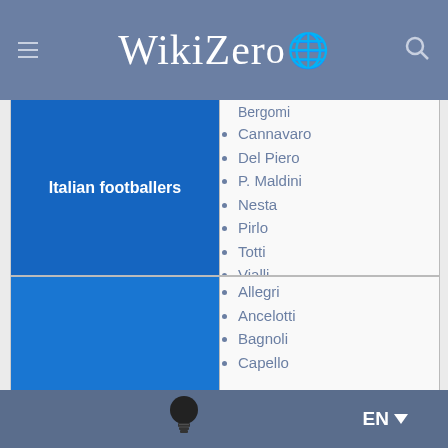WikiZero
Bergomi (partial, cut off at top)
Cannavaro
Del Piero
P. Maldini
Nesta
Pirlo
Totti
Vialli
| Category | Items |
| --- | --- |
| Italian footballers | Cannavaro, Del Piero, P. Maldini, Nesta, Pirlo, Totti, Vialli |
Allegri
Ancelotti
Bagnoli
Capello
EN